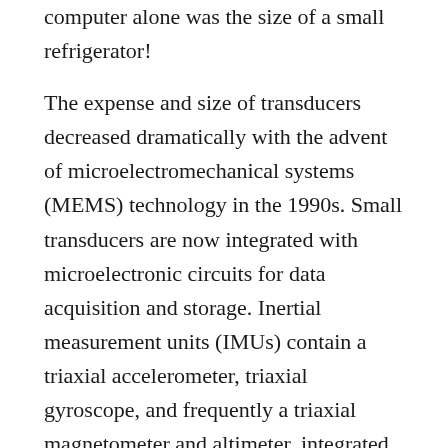computer alone was the size of a small refrigerator!
The expense and size of transducers decreased dramatically with the advent of microelectromechanical systems (MEMS) technology in the 1990s. Small transducers are now integrated with microelectronic circuits for data acquisition and storage. Inertial measurement units (IMUs) contain a triaxial accelerometer, triaxial gyroscope, and frequently a triaxial magnetometer and altimeter, integrated with an electronic circuit for digital storage and wireless output.5 The cost of, and space required for, computing have plummeted with the development of portable laptop computers that have ample memory and computing power. Meanwhile, portable computer